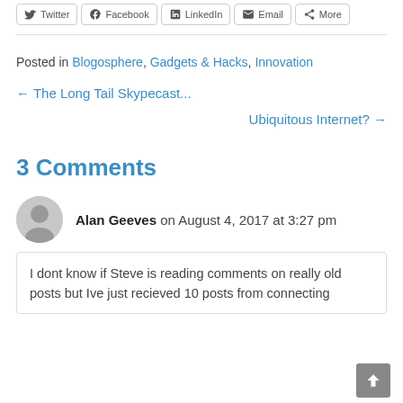Twitter | Facebook | LinkedIn | Email | More
Posted in Blogosphere, Gadgets & Hacks, Innovation
← The Long Tail Skypecast...
Ubiquitous Internet? →
3 Comments
Alan Geeves on August 4, 2017 at 3:27 pm
I dont know if Steve is reading comments on really old posts but Ive just recieved 10 posts from connecting